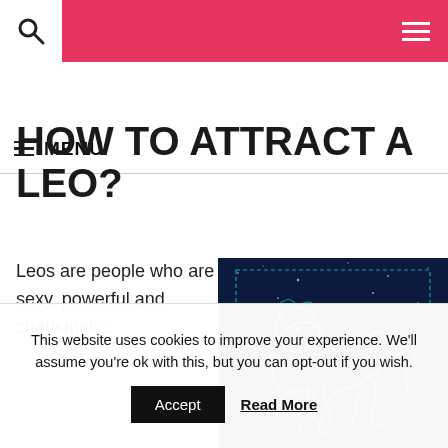MENU
HOW TO ATTRACT A LEO?
Leos are people who are sexy, powerful and charismatic.
[Figure (illustration): Leo zodiac constellation illustration on dark blue star map background with cyan/teal lion figure]
This website uses cookies to improve your experience. We'll assume you're ok with this, but you can opt-out if you wish.
Accept   Read More